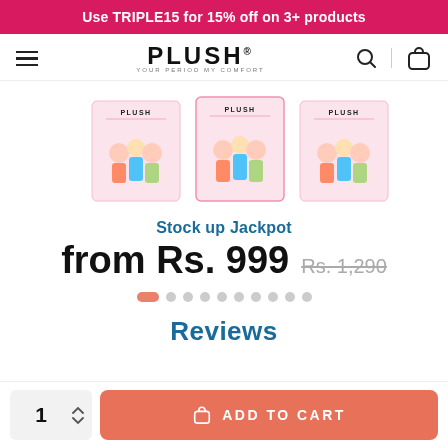Use TRIPLE15 for 15% off on 3+ products
[Figure (logo): PLUSH brand logo with tagline 'YOUR PERIOD MY COMFORT']
[Figure (photo): Three PLUSH branded product boxes side by side showing illustrated figures]
Stock up Jackpot
from Rs. 999  Rs. 1,290
[Figure (other): Carousel navigation dots, first dot active (salmon/orange), rest grey]
Reviews
1  ADD TO CART